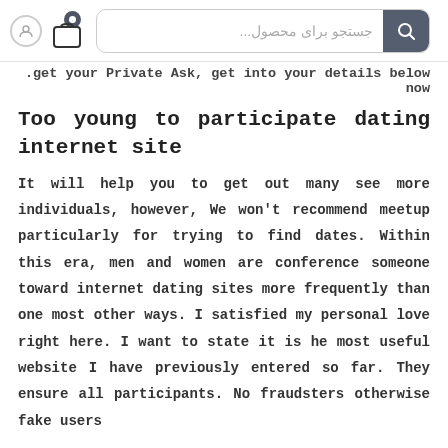جستجو برای محصول...
.get your Private Ask, get into your details below now
Too young to participate dating internet site
It will help you to get out many see more individuals, however, We won't recommend meetup particularly for trying to find dates. Within this era, men and women are conference someone toward internet dating sites more frequently than one most other ways. I satisfied my personal love right here. I want to state it is he most useful website I have previously entered so far. They ensure all participants. No fraudsters otherwise fake users